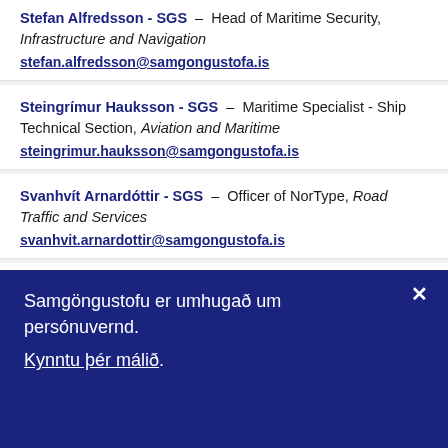Stefan Alfredsson - SGS – Head of Maritime Security, Infrastructure and Navigation
stef.alfredsson@samgongustofa.is
Steingrímur Hauksson - SGS – Maritime Specialist - Ship Technical Section, Aviation and Maritime
steingrimur.hauksson@samgongustofa.is
Svanhvít Arnardóttir - SGS – Officer of NorType, Road Traffic and Services
svanhvit.arnardottir@samgongustofa.is
Svava Kristinsdóttir - SGS – Officer - Seafarers' Certification...
Samgöngustofu er umhugað um persónuvernd. Kynntu þér málið.